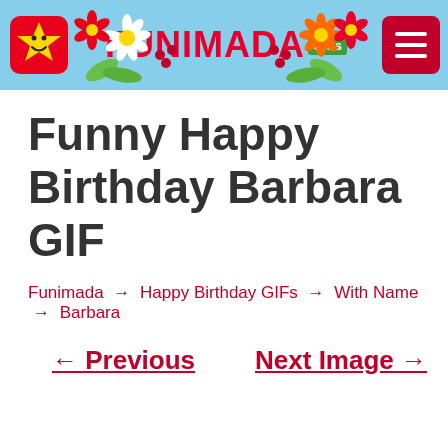FUNIMADA GIFs
Funny Happy Birthday Barbara GIF
Funimada → Happy Birthday GIFs → With Name → Barbara
← Previous   Next Image →